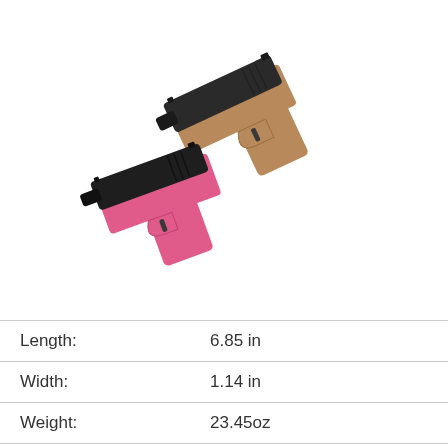[Figure (photo): Two handguns overlapping: one tan/brown colored and one pink colored, both with black slides, positioned diagonally]
| Length: | 6.85 in |
| Width: | 1.14 in |
| Weight: | 23.45oz |
| Capacity: | 10+1 / 14+1 |
| Calibers: | 9mm |